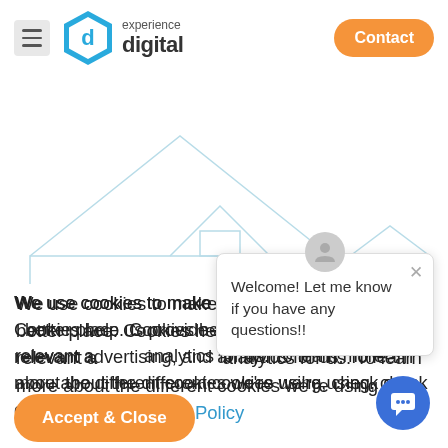[Figure (logo): experience digital logo with hexagon icon]
Contact
[Figure (illustration): Light blue outline house/roof shapes on white background]
We use cookies to make the internet a better place. Cookies help us provide a better experience and relevant advertising, and analytics for us. To learn more about the different cookies we're using, check out our Cookie Policy
Welcome! Let me know if you have any questions!!
Accept & Close